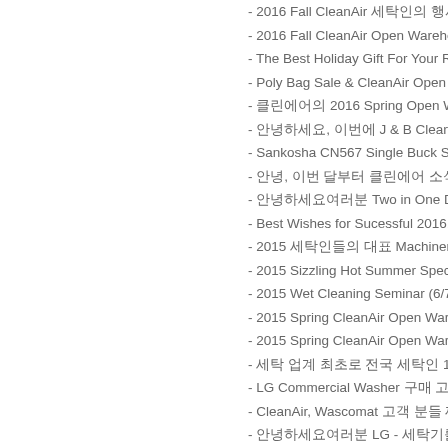- 2016 Fall CleanAir 세탁인의 행사안내... 10/13 (Sat)
- 2016 Fall CleanAir Open Warehouse Sh…
- The Best Holiday Gift For Your Royal Cu…
- Poly Bag Sale & CleanAir Open Wareho…
- 클린에어의 2016 Spring Open WareHouse May…
- 안녕하세요, 이번에 J & B Cleaners의 사장 Halfmoon Cle…
- Sankosha CN567 Single Buck Shirts Pre…
- 안녕, 이번 달부터 클린에어 소식지 다 한 번씩 보내 드리겠습니다. Albachem의 Foamin…
- 안녕하세요여러분 Two in One Drycleaning Machine, …
- Best Wishes for Sucessful 2016!
- 2015 세탁인들의 대표 Machinery Show에 초대합니다...
- 2015 Sizzling Hot Summer Special Poly…
- 2015 Wet Cleaning Seminar (6/7/15 9:00…
- 2015 Spring CleanAir Open Warehouse…
- 2015 Spring CleanAir Open Warehouse…
- 세탁 업계 최초로 전국 세탁인 1명에 118명의 소개손님을 데리고 온 분은?
- LG Commercial Washer 구매 고객을 위 한 선물
- CleanAir, Wascomat 고객 분들 께서 보내주신 감사 편지
- 안녕하세요여러분 LG - 세탁기를 사용하고 계신 분들 입니다!